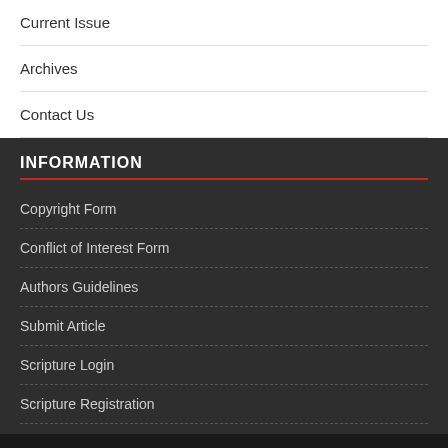Current Issue
Archives
Contact Us
INFORMATION
Copyright Form
Conflict of Interest Form
Authors Guidelines
Submit Article
Scripture Login
Scripture Registration
Copyright © 2022 | WordPress Theme by MH Themes